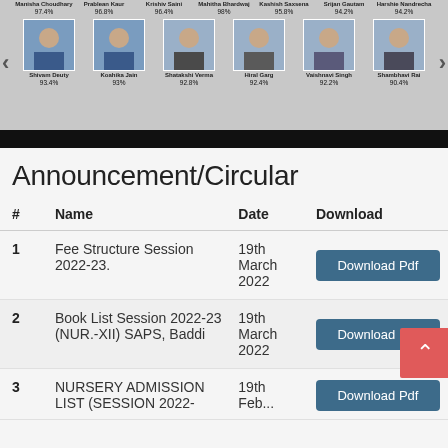[Figure (screenshot): Top banner showing student photos with names and percentages. Two rows of students: Top row: Manisha Choudhary 97.4%, Prablean Kaur 96.8%, Krishiv Saini 96.4%, Mahitha Bhardwaj 98%, Kashish Saxsena 95.8%, Srijan Gautam 94.2%, Harshie Nandrecha 94.2%. Bottom row: Shivam Deuty 93.4%, Koahika Jain 93%, Shatakshi Verma 92.8%, Hiral Garg 92.4%, Vaishnavi Singh 92.2%, Shambhavi Rai 90.4%.]
Announcement/Circular
| # | Name | Date | Download |
| --- | --- | --- | --- |
| 1 | Fee Structure Session 2022-23. | 19th March 2022 | Download Pdf |
| 2 | Book List Session 2022-23 (NUR.-XII) SAPS, Baddi | 19th March 2022 | Download Pdf |
| 3 | NURSERY ADMISSION LIST (SESSION 2022-... | 19th Feb... | Download Pdf |